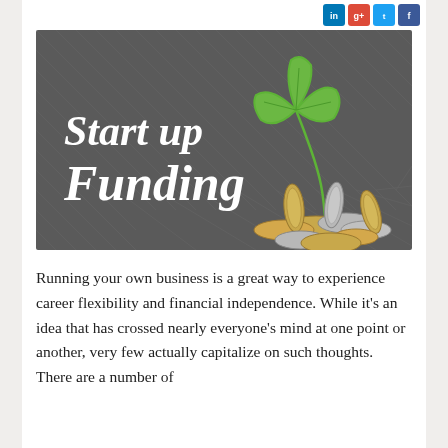[Figure (illustration): Header image with dark gray chalkboard background showing hand-drawn coins/money pile at bottom right and a green leaf sprout plant illustration. Text reads 'Start up Funding' in white cursive/script font on the left side.]
Running your own business is a great way to experience career flexibility and financial independence. While it's an idea that has crossed nearly everyone's mind at one point or another, very few actually capitalize on such thoughts. There are a number of